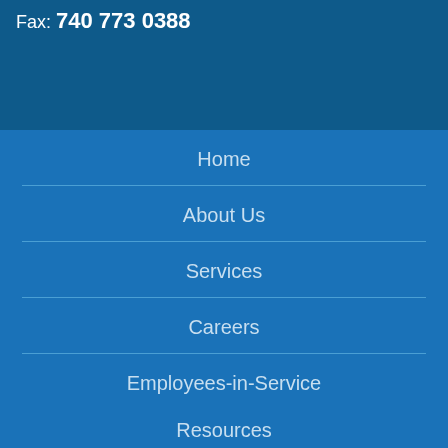Fax: 740 773 0388
Home
About Us
Services
Careers
Employees-in-Service
Resources